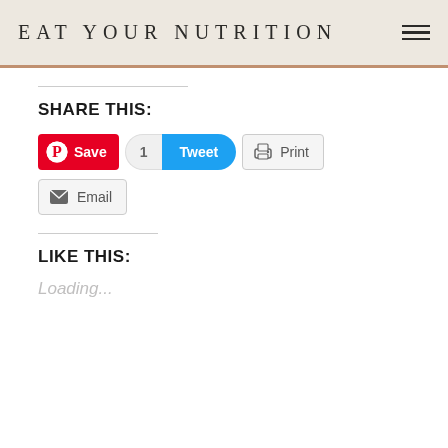EAT YOUR NUTRITION
SHARE THIS:
[Figure (screenshot): Social share buttons row: Pinterest Save button (red), Tweet button with count of 1 (blue), Print button (gray)]
[Figure (screenshot): Email share button (gray)]
LIKE THIS:
Loading...